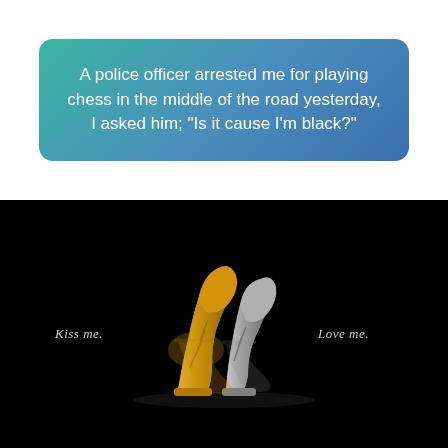A police officer arrested me for playing chess in the middle of the road yesterday, I asked him; "Is it cause I'm black?"
[Figure (photo): Two chess pieces — a gold knight and a silver knight — leaning toward each other as if kissing, on a black reflective surface. Text 'Kiss me.' appears on the left and 'Love me.' on the right.]